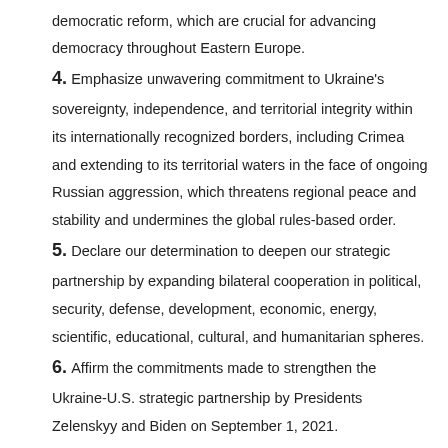democratic reform, which are crucial for advancing democracy throughout Eastern Europe.
4. Emphasize unwavering commitment to Ukraine's sovereignty, independence, and territorial integrity within its internationally recognized borders, including Crimea and extending to its territorial waters in the face of ongoing Russian aggression, which threatens regional peace and stability and undermines the global rules-based order.
5. Declare our determination to deepen our strategic partnership by expanding bilateral cooperation in political, security, defense, development, economic, energy, scientific, educational, cultural, and humanitarian spheres.
6. Affirm the commitments made to strengthen the Ukraine-U.S. strategic partnership by Presidents Zelenskyy and Biden on September 1, 2021.
7. Intend to use the Strategic Partnership Commission (SPC), its Working Groups and other bilateral mechanisms to maximize